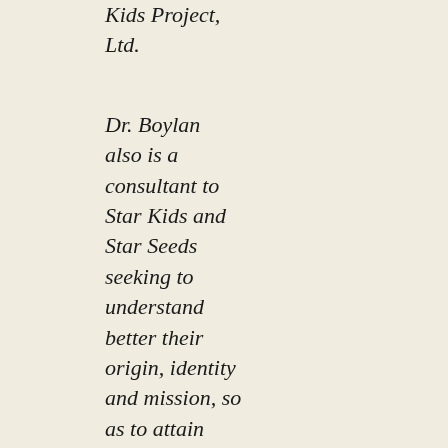Kids Project, Ltd.
Dr. Boylan also is a consultant to Star Kids and Star Seeds seeking to understand better their origin, identity and mission, so as to attain optimal awareness and clarity of identity, inner growth and spiritual